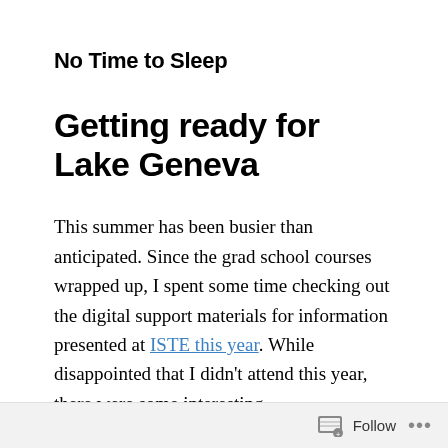No Time to Sleep
Getting ready for Lake Geneva
This summer has been busier than anticipated. Since the grad school courses wrapped up, I spent some time checking out the digital support materials for information presented at ISTE this year. While disappointed that I didn't attend this year, there were some interesting
Follow ...